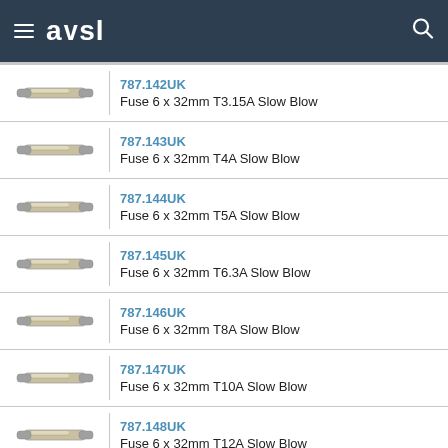avsl
| Image | Product |
| --- | --- |
| [fuse image] | 787.142UK
Fuse 6 x 32mm T3.15A Slow Blow |
| [fuse image] | 787.143UK
Fuse 6 x 32mm T4A Slow Blow |
| [fuse image] | 787.144UK
Fuse 6 x 32mm T5A Slow Blow |
| [fuse image] | 787.145UK
Fuse 6 x 32mm T6.3A Slow Blow |
| [fuse image] | 787.146UK
Fuse 6 x 32mm T8A Slow Blow |
| [fuse image] | 787.147UK
Fuse 6 x 32mm T10A Slow Blow |
| [fuse image] | 787.148UK
Fuse 6 x 32mm T12A Slow Blow |